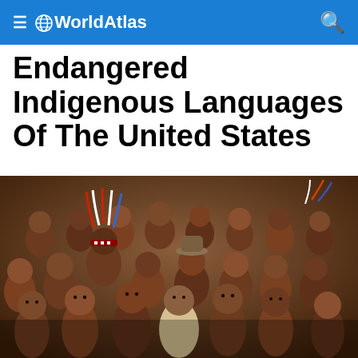WorldAtlas
Endangered Indigenous Languages Of The United States
[Figure (illustration): A historical painting depicting a large group of Native American people from various tribes, showing men, women wearing traditional clothing, headdresses, feathers, and other cultural attire, arranged in a crowd portrait composition.]